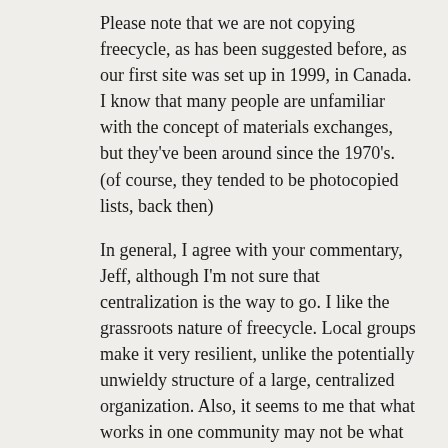Please note that we are not copying freecycle, as has been suggested before, as our first site was set up in 1999, in Canada. I know that many people are unfamiliar with the concept of materials exchanges, but they've been around since the 1970's. (of course, they tended to be photocopied lists, back then)
In general, I agree with your commentary, Jeff, although I'm not sure that centralization is the way to go. I like the grassroots nature of freecycle. Local groups make it very resilient, unlike the potentially unwieldy structure of a large, centralized organization. Also, it seems to me that what works in one community may not be what works elsewhere. Finally, I would say that diversity is a good thing, as some new concept or